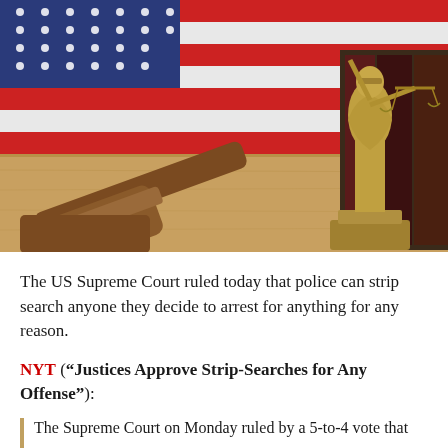[Figure (photo): Photo of a judge's gavel on a wooden surface, a Lady Justice golden statute holding scales, and an American flag in the background, along with dark law books.]
The US Supreme Court ruled today that police can strip search anyone they decide to arrest for anything for any reason.
NYT ("Justices Approve Strip-Searches for Any Offense"):
The Supreme Court on Monday ruled by a 5-to-4 vote that